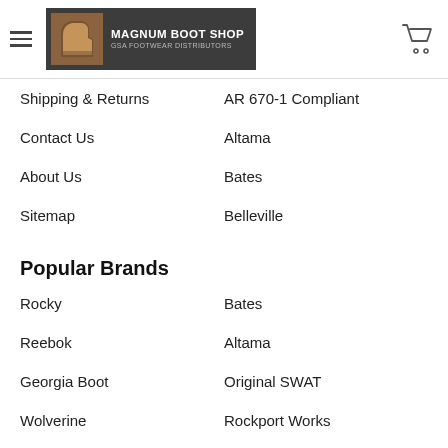[Figure (logo): Magnum Boot Shop logo with boot image and text 'Magnum Boot Shop, GSA Footwear Distributors' on dark background]
Shipping & Returns
AR 670-1 Compliant
Contact Us
Altama
About Us
Bates
Sitemap
Belleville
Popular Brands
Rocky
Bates
Reebok
Altama
Georgia Boot
Original SWAT
Wolverine
Rockport Works